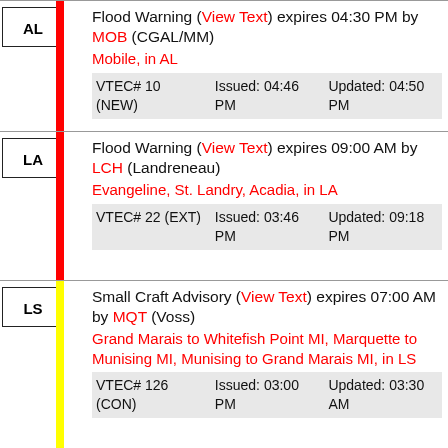AL | Flood Warning (View Text) expires 04:30 PM by MOB (CGAL/MM) Mobile, in AL VTEC# 10 (NEW) Issued: 04:46 PM Updated: 04:50 PM
LA | Flood Warning (View Text) expires 09:00 AM by LCH (Landreneau) Evangeline, St. Landry, Acadia, in LA VTEC# 22 (EXT) Issued: 03:46 PM Updated: 09:18 PM
LS | Small Craft Advisory (View Text) expires 07:00 AM by MQT (Voss) Grand Marais to Whitefish Point MI, Marquette to Munising MI, Munising to Grand Marais MI, in LS VTEC# 126 (CON) Issued: 03:00 PM Updated: 03:30 AM